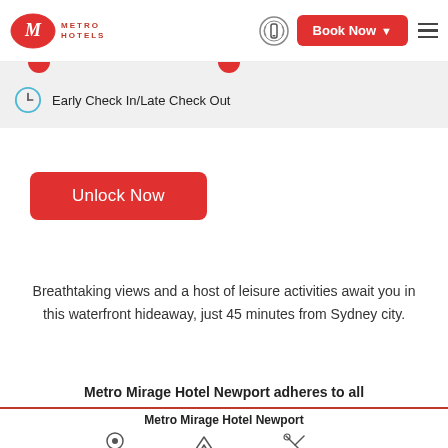[Figure (logo): Metro Hotels logo — red oval with stylized M, text METRO HOTELS in red]
Book Now
Early Check In/Late Check Out
Unlock Now
Breathtaking views and a host of leisure activities await you in this waterfront hideaway, just 45 minutes from Sydney city.
Metro Mirage Hotel Newport adheres to all
Metro Mirage Hotel Newport
ROOMS FROM